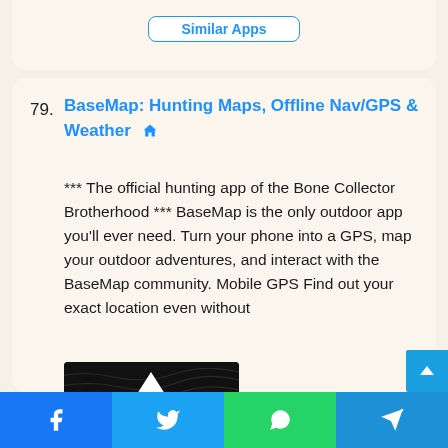Similar Apps
79. BaseMap: Hunting Maps, Offline Nav/GPS & Weather *** The official hunting app of the Bone Collector Brotherhood *** BaseMap is the only outdoor app you'll ever need. Turn your phone into a GPS, map your outdoor adventures, and interact with the BaseMap community. Mobile GPS Find out your exact location even without
[Figure (photo): BaseMap app logo/icon — white triangle chevron on dark topographic map background]
Facebook | Twitter | WhatsApp | Telegram